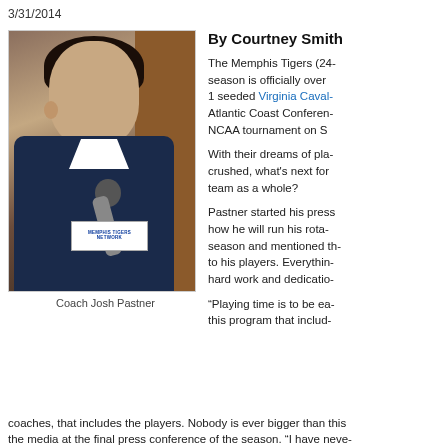3/31/2014
By Courtney Smith
[Figure (photo): Photo of Coach Josh Pastner holding a Memphis Tigers Network microphone, shown in profile view against a wooden door background, wearing a blue jacket]
Coach Josh Pastner
The Memphis Tigers (24- season is officially over 1 seeded Virginia Cavaliers Atlantic Coast Conference NCAA tournament on S
With their dreams of pla- crushed, what's next for team as a whole?
Pastner started his press how he will run his rota- season and mentioned th- to his players. Everythin- hard work and dedicatio-
“Playing time is to be ea- this program that includ- coaches, that includes the players. Nobody is ever bigger than this the media at the final press conference of the season. “I have neve-